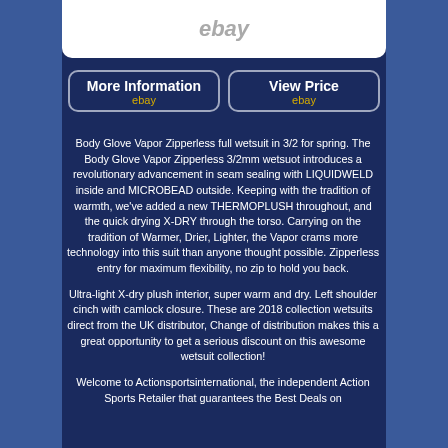[Figure (screenshot): eBay logo/image area at top center]
[Figure (other): Two buttons: 'More Information ebay' and 'View Price ebay']
Body Glove Vapor Zipperless full wetsuit in 3/2 for spring. The Body Glove Vapor Zipperless 3/2mm wetsuot introduces a revolutionary advancement in seam sealing with LIQUIDWELD inside and MICROBEAD outside. Keeping with the tradition of warmth, we've added a new THERMOPLUSH throughout, and the quick drying X-DRY through the torso. Carrying on the tradition of Warmer, Drier, Lighter, the Vapor crams more technology into this suit than anyone thought possible. Zipperless entry for maximum flexibility, no zip to hold you back.
Ultra-light X-dry plush interior, super warm and dry. Left shoulder cinch with camlock closure. These are 2018 collection wetsuits direct from the UK distributor, Change of distribution makes this a great opportunity to get a serious discount on this awesome wetsuit collection!
Welcome to Actionsportsinternational, the independent Action Sports Retailer that guarantees the Best Deals on